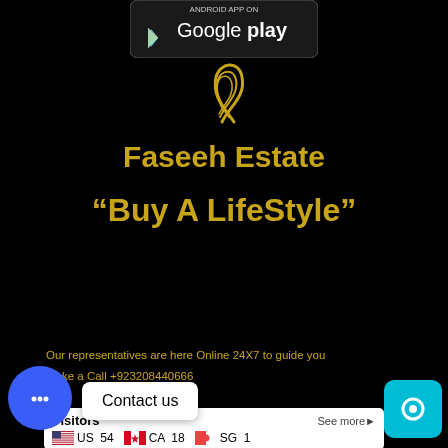[Figure (logo): Google Play Store badge with 'ANDROID APP ON Google play' text and play button icon]
[Figure (logo): Faseeh Estate golden swirl/feather logo mark]
Faseeh Estate
“Buy A LifeStyle”
Our representatives are here Online 24X7 to guide you
Make a Call +923208440666
Visitors  See more►  US 54  CA 18  SG 1
Contact us